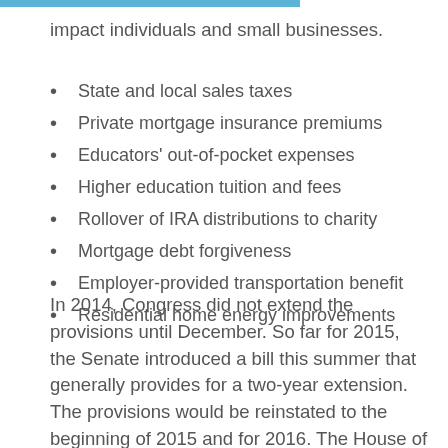impact individuals and small businesses.
State and local sales taxes
Private mortgage insurance premiums
Educators' out-of-pocket expenses
Higher education tuition and fees
Rollover of IRA distributions to charity
Mortgage debt forgiveness
Employer-provided transportation benefit
Residential home energy improvements
In 2014, Congress did not extend the provisions until December. So far for 2015, the Senate introduced a bill this summer that generally provides for a two-year extension. The provisions would be reinstated to the beginning of 2015 and for 2016. The House of Representatives' bill has a much smaller list of seven tax provisions and would extend the benefits permanently for 2015 and...